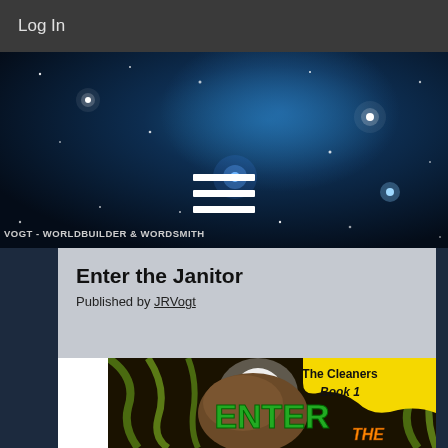Log In
[Figure (illustration): Dark starry space background banner with text 'VOGT - WORLDBUILDER & WORDSMITH' and a hamburger menu icon]
Enter the Janitor
Published by JRVogt
[Figure (photo): Book cover for 'Enter the Janitor' - The Cleaners Book 1, showing green text 'ENTER THE JANITOR' on a dark sci-fi background with alien imagery and a yellow splash badge]